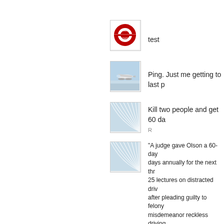[Figure (logo): Ohio State athletic logo — red block O with OHIO STATE text]
test
[Figure (photo): Small airplane on water or wet runway, sky in background]
Ping. Just me getting to last p
[Figure (illustration): Blue and white wave/fan design graphic]
Kill two people and get 60 da
R
[Figure (illustration): Blue and white wave/fan design graphic]
“A judge gave Olson a 60-day days annually for the next thr 25 lectures on distracted driv after pleading guilty to felony misdemeanor reckless driving
The teen also is barred from pay more than $7,000 in resti Olson’s felony conviction will sentencing requirements, the